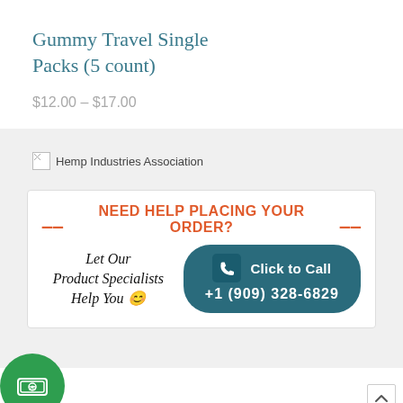Gummy Travel Single Packs (5 count)
$12.00 – $17.00
[Figure (logo): Hemp Industries Association logo (broken image placeholder)]
[Figure (infographic): Promotional banner: NEED HELP PLACING YOUR ORDER? Let Our Product Specialists Help You with Click to Call button and phone number +1 (909) 328-6829]
[Figure (logo): Green circular money/rewards badge]
[Figure (logo): TrustedSite Certified Secure badge]
[Figure (other): Scroll to top arrow button]
[Figure (other): Orange help/question mark circular button]